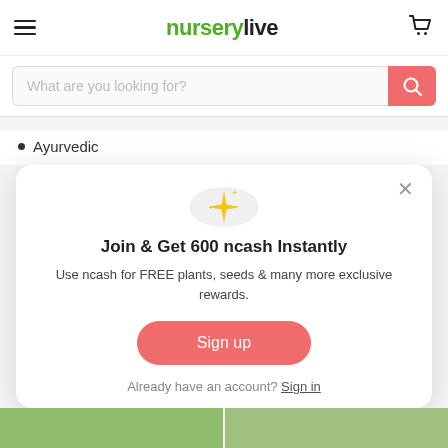nurserylive
What are you looking for?
Ayurvedic
Join & Get 600 ncash Instantly
Use ncash for FREE plants, seeds & many more exclusive rewards.
Sign up
Already have an account? Sign in